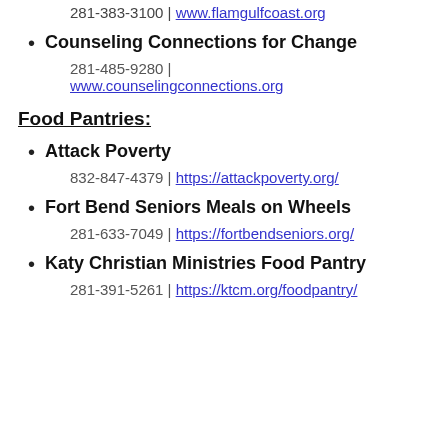281-383-3100 | www.flamgulfcoast.org
Counseling Connections for Change
281-485-9280 | www.counselingconnections.org
Food Pantries:
Attack Poverty
832-847-4379 | https://attackpoverty.org/
Fort Bend Seniors Meals on Wheels
281-633-7049 | https://fortbendseniors.org/
Katy Christian Ministries Food Pantry
281-391-5261 | https://ktcm.org/foodpantry/